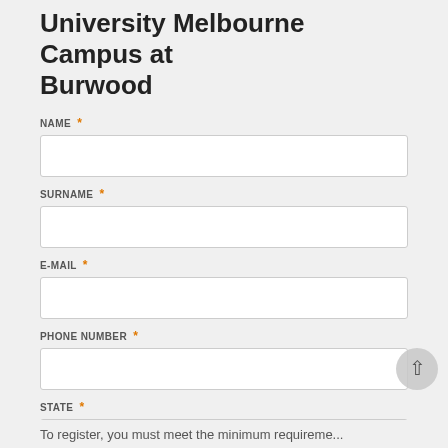University Melbourne Campus at Burwood
NAME *
SURNAME *
E-MAIL *
PHONE NUMBER *
STATE *
Select
CITY *
Select a city
To register, you must meet the minimum requirements